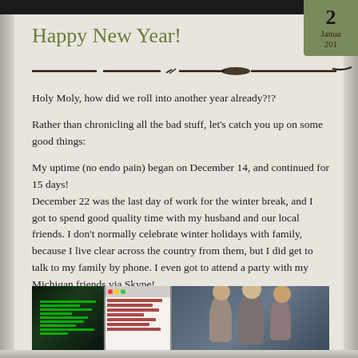Happy New Year!
Holy Moly, how did we roll into another year already?!?
Rather than chronicling all the bad stuff, let's catch you up on some good things:
My uptime (no endo pain) began on December 14, and continued for 15 days!
December 22 was the last day of work for the winter break, and I got to spend good quality time with my husband and our local friends. I don't normally celebrate winter holidays with family, because I live clear across the country from them, but I did get to talk to my family by phone. I even got to attend a party with my Michigan friends via Skype!
[Figure (photo): Three photos side by side: a terminal/code screen on the left, a computer window screenshot in the middle, and people at a party on the right]
2
January
2012